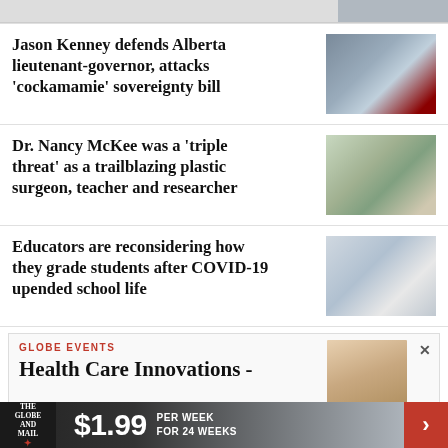[Figure (photo): Partial image strip at top right corner]
Jason Kenney defends Alberta lieutenant-governor, attacks ‘cockamamie’ sovereignty bill
[Figure (photo): Photo of a man speaking, with a Canadian flag in the background]
Dr. Nancy McKee was a ‘triple threat’ as a trailblazing plastic surgeon, teacher and researcher
[Figure (photo): Photo of a woman in a medical office setting]
Educators are reconsidering how they grade students after COVID-19 upended school life
[Figure (photo): Photo of a woman in a classroom]
GLOBE EVENTS
Health Care Innovations -
[Figure (photo): Partial photo of a woman]
$1.99 PER WEEK FOR 24 WEEKS — The Globe and Mail